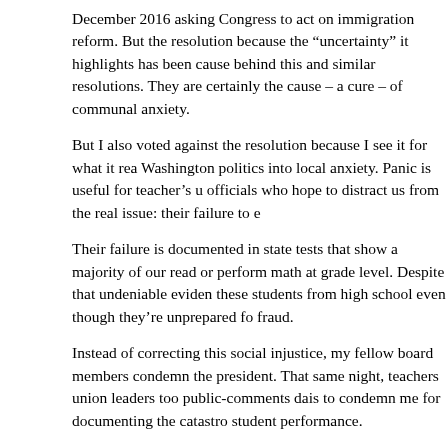December 2016 asking Congress to act on immigration reform. But the resolution because the “uncertainty” it highlights has been cause behind this and similar resolutions. They are certainly the cause – a cure – of communal anxiety.
But I also voted against the resolution because I see it for what it rea Washington politics into local anxiety. Panic is useful for teacher’s u officials who hope to distract us from the real issue: their failure to e
Their failure is documented in state tests that show a majority of our read or perform math at grade level. Despite that undeniable eviden these students from high school even though they’re unprepared fo fraud.
Instead of correcting this social injustice, my fellow board members condemn the president. That same night, teachers union leaders too public-comments dais to condemn me for documenting the catastro student performance.
There is a crisis haunting our community. But it’s not a crisis the pre crisis emanating from distant Washington, DC. Indeed, in the last se has begun talking with congressional Democrats about a deal that v the problem of people covered by the DACA program.
No, the crisis that should concern everyone has its origin right here